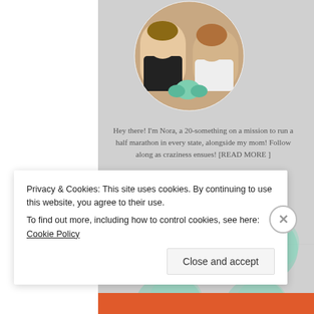[Figure (photo): Circular profile photo of two women smiling, holding a small green decorative item]
Hey there! I'm Nora, a 20-something on a mission to run a half marathon in every state, alongside my mom! Follow along as craziness ensues! [READ MORE ]
[Figure (illustration): Two watercolor-style heart/blob shapes in teal/mint color containing social media icons: Twitter bird icon and Pinterest 'P' icon]
[Figure (illustration): Two more watercolor-style heart/blob shapes in teal/mint color partially visible at bottom]
Privacy & Cookies: This site uses cookies. By continuing to use this website, you agree to their use.
To find out more, including how to control cookies, see here: Cookie Policy
Close and accept